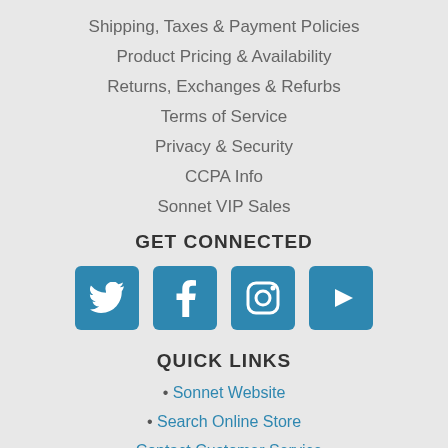Shipping, Taxes & Payment Policies
Product Pricing & Availability
Returns, Exchanges & Refurbs
Terms of Service
Privacy & Security
CCPA Info
Sonnet VIP Sales
GET CONNECTED
[Figure (illustration): Four social media icons: Twitter bird, Facebook f, Instagram camera, YouTube play button — all in blue squares]
QUICK LINKS
• Sonnet Website
• Search Online Store
• Contact Customer Service
• Report Store Issues